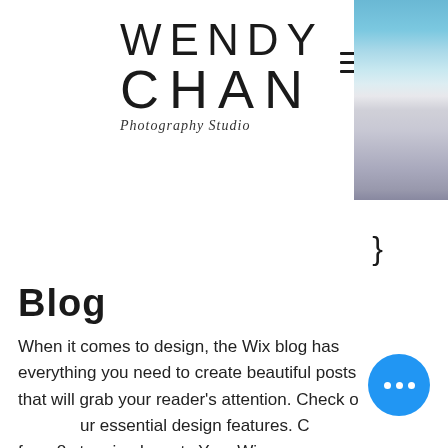WENDY CHAN Photography Studio
[Figure (photo): Aerial/landscape photo strip on the right side showing blue sea and white architectural elements, possibly Santorini]
Blog
When it comes to design, the Wix blog has everything you need to create beautiful posts that will grab your reader's attention. Check out our essential design features. Choose from 8 stunning layouts Your Wix